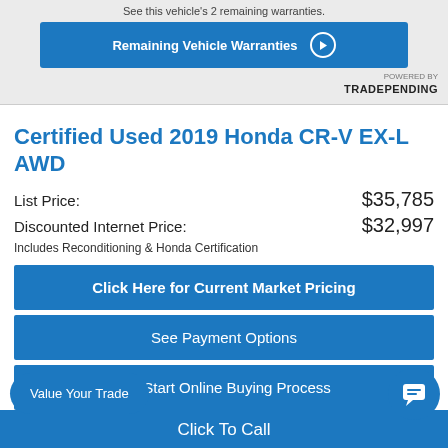[Figure (screenshot): Warranty banner with shield icon, 'See this vehicle’s 2 remaining warranties.' text, a blue 'Remaining Vehicle Warranties' button with play icon, and 'POWERED BY TRADEPENDING' logo]
Certified Used 2019 Honda CR-V EX-L AWD
List Price: $35,785
Discounted Internet Price: $32,997
Includes Reconditioning & Honda Certification
Click Here for Current Market Pricing
See Payment Options
🛒 Start Online Buying Process
Certified Pre-Owned Video
Value Your Trade
Click To Call